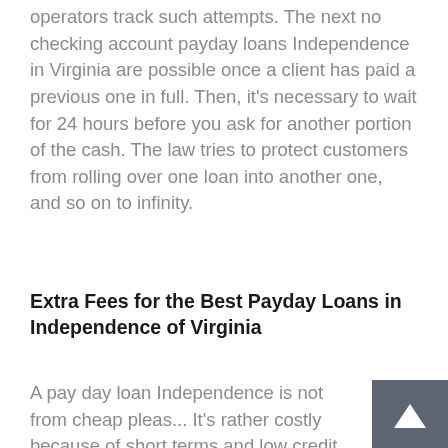operators track such attempts. The next no checking account payday loans Independence in Virginia are possible once a client has paid a previous one in full. Then, it's necessary to wait for 24 hours before you ask for another portion of the cash. The law tries to protect customers from rolling over one loan into another one, and so on to infinity.
Extra Fees for the Best Payday Loans in Independence of Virginia
A pay day loan Independence is not from cheap pleas... It's rather costly because of short terms and low credit history requirements. Additional charges might vary from
[Figure (other): Scroll-up arrow button in dark grey square]
Apply Now
Applying does NOT affect your credit score!
No credit check to apply.